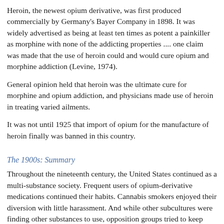Heroin, the newest opium derivative, was first produced commercially by Germany's Bayer Company in 1898. It was widely advertised as being at least ten times as potent a painkiller as morphine with none of the addicting properties .... one claim was made that the use of heroin could and would cure opium and morphine addiction (Levine, 1974).
General opinion held that heroin was the ultimate cure for morphine and opium addiction, and physicians made use of heroin in treating varied ailments.
It was not until 1925 that import of opium for the manufacture of heroin finally was banned in this country.
The 1900s: Summary
Throughout the nineteenth century, the United States continued as a multi-substance society. Frequent users of opium-derivative medications continued their habits. Cannabis smokers enjoyed their diversion with little harassment. And while other subcultures were finding other substances to use, opposition groups tried to keep pace.
The First Federal Legislation
While the medical community was prescribing heroin to cure fever